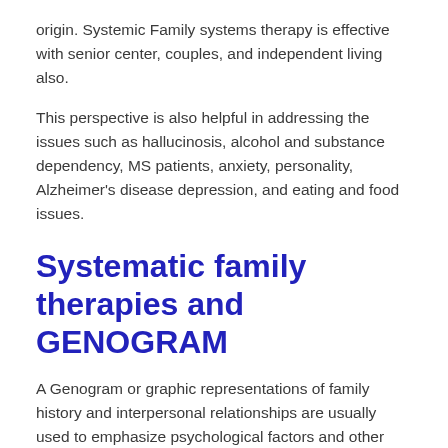origin. Systemic Family systems therapy is effective with senior center, couples, and independent living also.
This perspective is also helpful in addressing the issues such as hallucinosis, alcohol and substance dependency, MS patients, anxiety, personality, Alzheimer's disease depression, and eating and food issues.
Systematic family therapies and GENOGRAM
A Genogram or graphic representations of family history and interpersonal relationships are usually used to emphasize psychological factors and other essential issues or specific events that may affect senior health care in the past. He first interviewed each family member to create a detailed story that